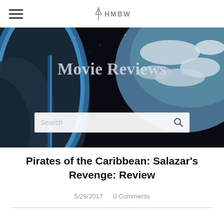HMBW
[Figure (photo): Dark space/earth horizon background image with blue atmosphere glow]
Movie Reviews
[Figure (other): Search bar with placeholder text 'Search' and a search icon]
Pirates of the Caribbean: Salazar's Revenge: Review
5/29/2017   0 Comments